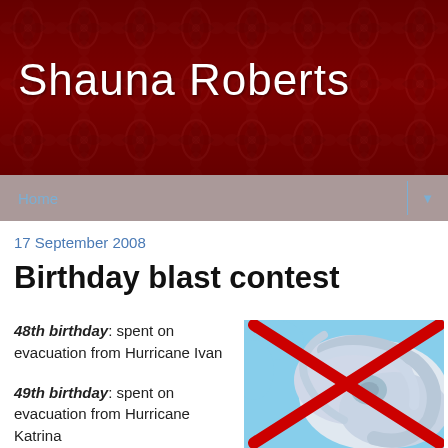Shauna Roberts
Home
17 September 2008
Birthday blast contest
48th birthday: spent on evacuation from Hurricane Ivan
49th birthday: spent on evacuation from Hurricane Katrina
50th birthday: spent putting our house and lives back
[Figure (photo): Satellite image of a hurricane from above, with a large red X crossed over it]